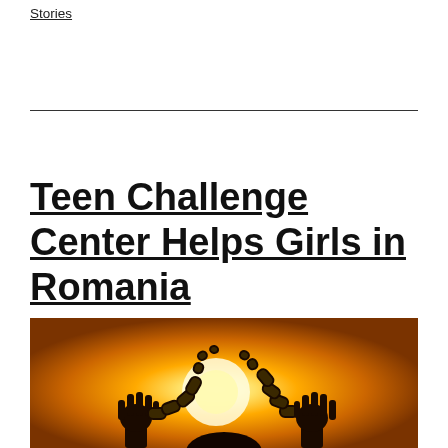Stories
Teen Challenge Center Helps Girls in Romania
[Figure (photo): Silhouette of two raised hands breaking free from chains against a bright orange sunset background, symbolizing freedom from bondage.]